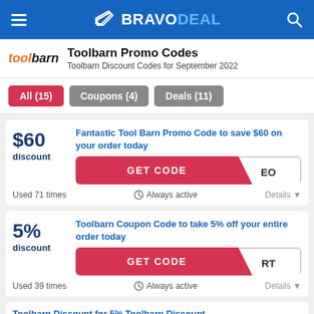BRAVODEAL
Toolbarn Promo Codes
Toolbarn Discount Codes for September 2022
All (15)
Coupons (4)
Deals (11)
Fantastic Tool Barn Promo Code to save $60 on your order today
GET CODE  EO
Used 71 times   Always active   Details
Toolbarn Coupon Code to take 5% off your entire order today
GET CODE  RT
Used 39 times   Always active   Details
Toolbarn Discount for 5% Toolbarn Discount